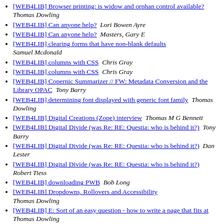[WEB4LIB] Browser printing: is widow and orphan control available?  Thomas Dowling
[WEB4LIB] Can anyone help?  Lori Bowen Ayre
[WEB4LIB] Can anyone help?  Masters, Gary E
[WEB4LIB] clearing forms that have non-blank defaults  Samuel Mcdonald
[WEB4LIB] columns with CSS  Chris Gray
[WEB4LIB] columns with CSS  Chris Gray
[WEB4LIB] Copernic Summarizer // FW: Metadata Conversion and the Library OPAC  Tony Barry
[WEB4LIB] determining font displayed with generic font family  Thomas Dowling
[WEB4LIB] Digital Creations (Zope) interview  Thomas M G Bennett
[WEB4LIB] Digital Divide (was Re: RE: Questia: who is behind it?)  Tony Barry
[WEB4LIB] Digital Divide (was Re: RE: Questia: who is behind it?)  Dan Lester
[WEB4LIB] Digital Divide (was Re: RE: Questia: who is behind it?)  Robert Tiess
[WEB4LIB] downloading PWB  Bob Long
[WEB4LIB] Dropdowns, Rollovers and Accessibility  Thomas Dowling
[WEB4LIB] E: Sort of an easy question - how to write a page that fits at  Thomas Dowling
[WEB4LIB] Ether...  Bob R...